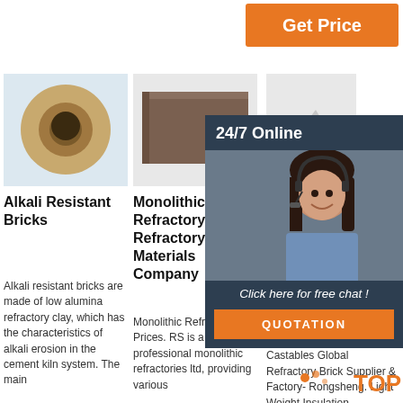[Figure (other): Orange 'Get Price' button at top right]
[Figure (photo): Photo of alkali resistant brick cylinder/tube - golden brown ceramic tube on white background]
[Figure (photo): Photo of monolithic refractory brick - dark brown rectangular brick]
[Figure (photo): Photo of insulating refractory castable - white/grey wedge shaped pieces]
Alkali Resistant Bricks
Monolithic Refractory - RS Refractory Materials Company
insulating refractory castables castables
Alkali resistant bricks are made of low alumina refractory clay, which has the characteristics of alkali erosion in the cement kiln system. The main
Monolithic Refractory Prices. RS is a professional monolithic refractories ltd, providing various
Light Insulating Refractory Castables Global Refractory Brick Supplier & Factory- Rongsheng. Light Weight Insulation
[Figure (infographic): 24/7 Online chat panel with customer service representative photo, 'Click here for free chat!' text and QUOTATION button]
[Figure (logo): TOP logo with orange dots and text at bottom right]